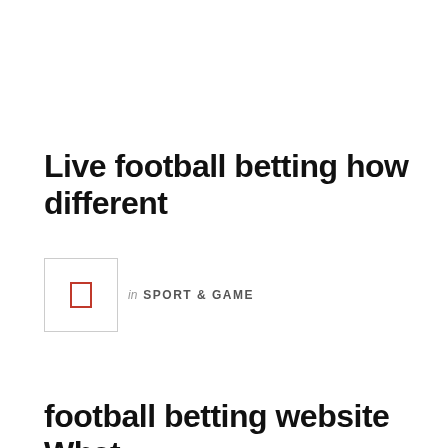Live football betting how different
in SPORT & GAME
football betting website What